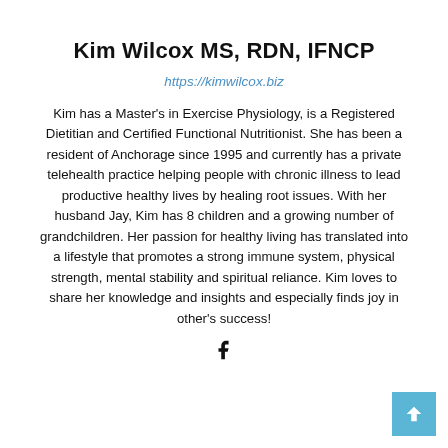Kim Wilcox MS, RDN, IFNCP
https://kimwilcox.biz
Kim has a Master's in Exercise Physiology, is a Registered Dietitian and Certified Functional Nutritionist. She has been a resident of Anchorage since 1995 and currently has a private telehealth practice helping people with chronic illness to lead productive healthy lives by healing root issues. With her husband Jay, Kim has 8 children and a growing number of grandchildren. Her passion for healthy living has translated into a lifestyle that promotes a strong immune system, physical strength, mental stability and spiritual reliance. Kim loves to share her knowledge and insights and especially finds joy in other's success!
[Figure (other): Facebook icon (lowercase bold f)]